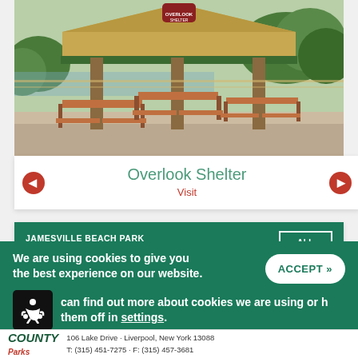[Figure (photo): Overlook Shelter at Jamesville Beach Park — a covered picnic pavilion with a green metal roof, wooden posts, and multiple picnic tables on a concrete pad, with green trees and water visible in the background.]
Overlook Shelter
Visit
JAMESVILLE BEACH PARK EVENTS
We are using cookies to give you the best experience on our website.
You can find out more about which cookies we are using or switch them off in settings.
106 Lake Drive · Liverpool, New York 13088 T: (315) 451-7275 · F: (315) 457-3681